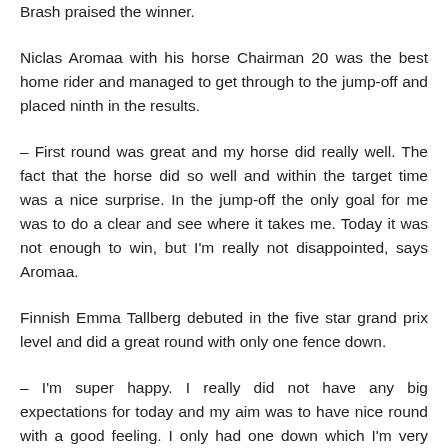Brash praised the winner.
Niclas Aromaa with his horse Chairman 20 was the best home rider and managed to get through to the jump-off and placed ninth in the results.
– First round was great and my horse did really well. The fact that the horse did so well and within the target time was a nice surprise. In the jump-off the only goal for me was to do a clear and see where it takes me. Today it was not enough to win, but I'm really not disappointed, says Aromaa.
Finnish Emma Tallberg debuted in the five star grand prix level and did a great round with only one fence down.
– I'm super happy. I really did not have any big expectations for today and my aim was to have nice round with a good feeling. I only had one down which I'm very happy about, tells